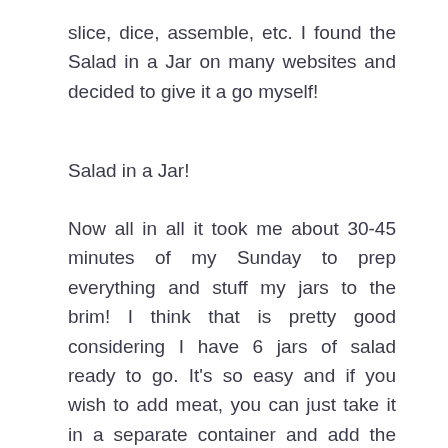slice, dice, assemble, etc. I found the Salad in a Jar on many websites and decided to give it a go myself!
Salad in a Jar!
Now all in all it took me about 30-45 minutes of my Sunday to prep everything and stuff my jars to the brim! I think that is pretty good considering I have 6 jars of salad ready to go. It's so easy and if you wish to add meat, you can just take it in a separate container and add the day of your lunch. For example, if you have leftover chicken fajitas (which I do!!)